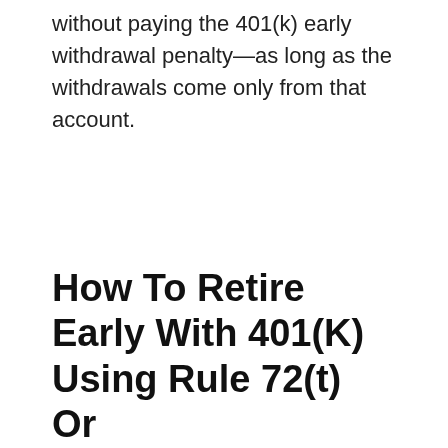without paying the 401(k) early withdrawal penalty—as long as the withdrawals come only from that account.
How To Retire Early With 401(K) Using Rule 72(t) Or